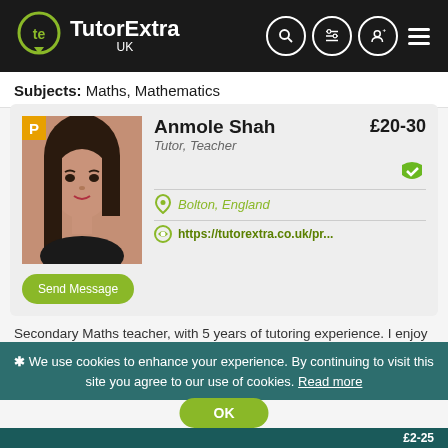[Figure (screenshot): TutorExtra UK website header with logo (green circle with 'te' monogram and location pin) on black background, with search, filter, user, and menu icons on the right.]
Subjects: Maths, Mathematics
[Figure (photo): Profile card for tutor Anmole Shah showing a photo of a young woman with dark hair, a yellow 'P' badge, name, role (Tutor, Teacher), price £20-30, green verified checkmark, location Bolton England, profile URL, and a green Send Message button.]
Secondary Maths teacher, with 5 years of tutoring experience. I enjoy teaching, and I have a good understanding of various...
Subjects: Maths, Biology, Chemistry, Physics
✱ We use cookies to enhance your experience. By continuing to visit this site you agree to our use of cookies. Read more
OK